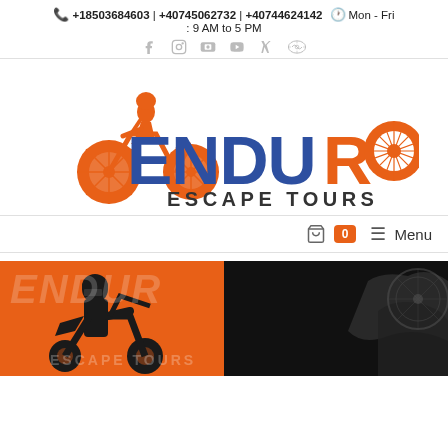📞 +18503684603 | +40745062732 | +40744624142 🕐 Mon - Fri : 9 AM to 5 PM
[Figure (logo): Enduro Escape Tours logo with orange motorbike silhouette rider on top, large blue and orange ENDURO text, and ESCAPE TOURS in dark gray below]
🛒 0  ☰ Menu
[Figure (photo): Hero banner image with orange and black background showing a motorbike rider silhouette and ENDURO ESCAPE TOURS text in white]